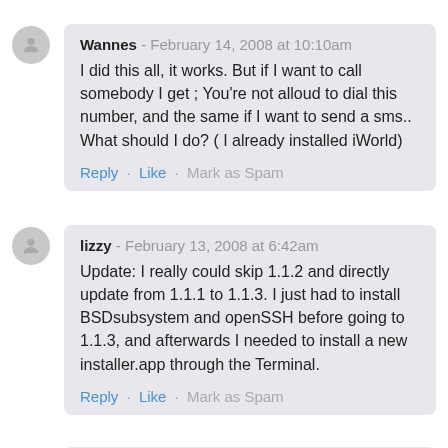Wannes - February 14, 2008 at 10:10am
I did this all, it works. But if I want to call somebody I get ; You're not alloud to dial this number, and the same if I want to send a sms.. What should I do? ( I already installed iWorld)
Reply · Like · Mark as Spam
lizzy - February 13, 2008 at 6:42am
Update: I really could skip 1.1.2 and directly update from 1.1.1 to 1.1.3. I just had to install BSDsubsystem and openSSH before going to 1.1.3, and afterwards I needed to install a new installer.app through the Terminal.
Reply · Like · Mark as Spam
Jonas - February 13, 2008 at 4:45am